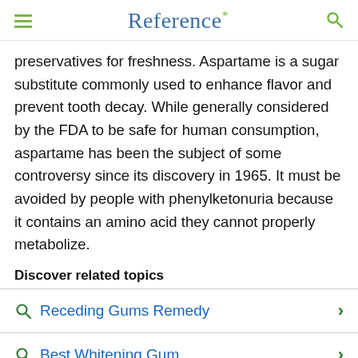Reference*
preservatives for freshness. Aspartame is a sugar substitute commonly used to enhance flavor and prevent tooth decay. While generally considered by the FDA to be safe for human consumption, aspartame has been the subject of some controversy since its discovery in 1965. It must be avoided by people with phenylketonuria because it contains an amino acid they cannot properly metabolize.
Discover related topics
Receding Gums Remedy
Best Whitening Gum